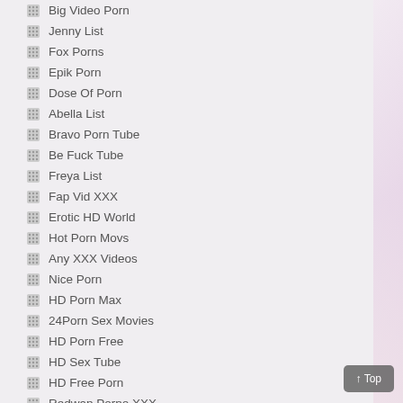Big Video Porn
Jenny List
Fox Porns
Epik Porn
Dose Of Porn
Abella List
Bravo Porn Tube
Be Fuck Tube
Freya List
Fap Vid XXX
Erotic HD World
Hot Porn Movs
Any XXX Videos
Nice Porn
HD Porn Max
24Porn Sex Movies
HD Porn Free
HD Sex Tube
HD Free Porn
Redwap Porno XXX
24 Porn Videos
Beeg Sex Tv
Fuck Ass Videos